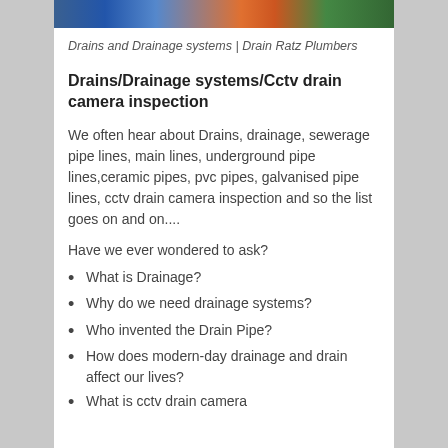[Figure (photo): Photo strip showing plumbers or drainage workers at the top of the page]
Drains and Drainage systems | Drain Ratz Plumbers
Drains/Drainage systems/Cctv drain camera inspection
We often hear about Drains, drainage, sewerage pipe lines, main lines, underground pipe lines,ceramic pipes, pvc pipes, galvanised pipe lines, cctv drain camera inspection and so the list goes on and on....
Have we ever wondered to ask?
What is Drainage?
Why do we need drainage systems?
Who invented the Drain Pipe?
How does modern-day drainage and drain affect our lives?
What is cctv drain camera